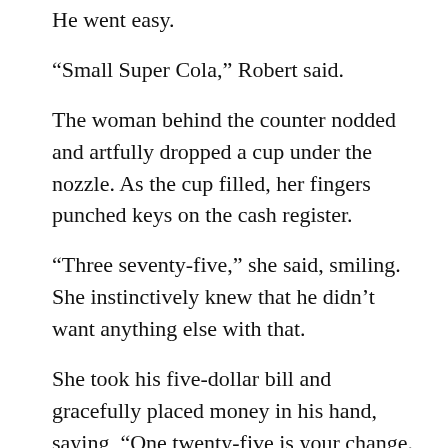He went easy.
“Small Super Cola,” Robert said.
The woman behind the counter nodded and artfully dropped a cup under the nozzle. As the cup filled, her fingers punched keys on the cash register.
“Three seventy-five,” she said, smiling. She instinctively knew that he didn’t want anything else with that.
She took his five-dollar bill and gracefully placed money in his hand, saying, “One twenty-five is your change. Enjoy the show.”